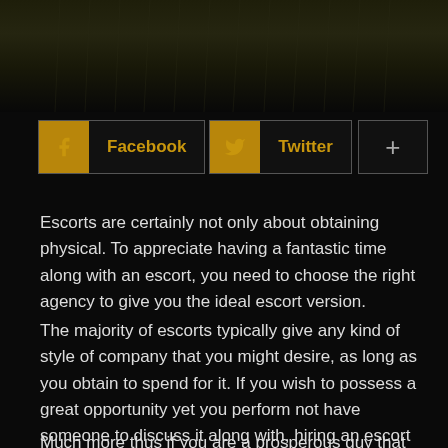[Figure (photo): Dark moody background image, appears to show rain or wet surface in very low light, dark olive/black tones]
[Figure (infographic): Social sharing buttons row: Facebook (golden icon + label), Twitter (golden icon + label), and a plus button]
Escorts are certainly not only about obtaining physical. To appreciate having a fantastic time along with an escort, you need to choose the right agency to give you the ideal escort version.
The majority of escorts typically give any kind of style of company that you might desire, as long as you obtain to spend for it. If you wish to possess a great opportunity yet you perform not have someone to discuss it along with, hiring an escort might just be actually the solution.
Much more thus if you are a prosperous guy that performs